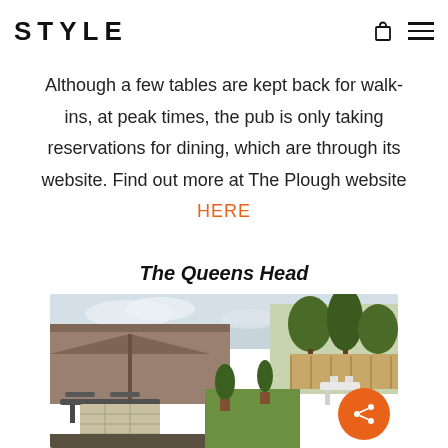STYLE
Although a few tables are kept back for walk-ins, at peak times, the pub is only taking reservations for dining, which are through its website. Find out more at The Plough website HERE
The Queens Head
[Figure (photo): Outdoor pub garden/patio area with tables, chairs, a parasol/canopy structure, trees in the background, and a wooden building. Green lawn visible on the right side. Overcast sky.]